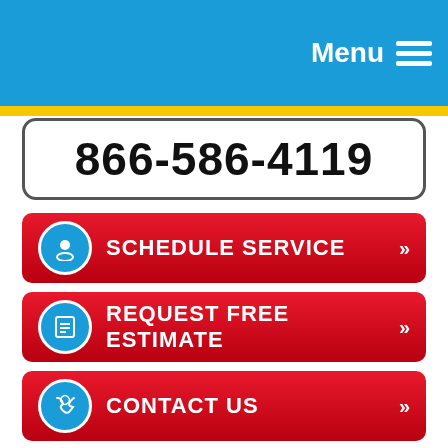Menu
866-586-4119
SCHEDULE SERVICE »
REQUEST FREE ESTIMATE »
CONTACT US »
« Plumbing Upgrades to Make in the New Year
How Camera Inspections Help Us Narrow Down Sewer Line Problems »
What Is a Slab Leak and Is It Really a Big Deal?